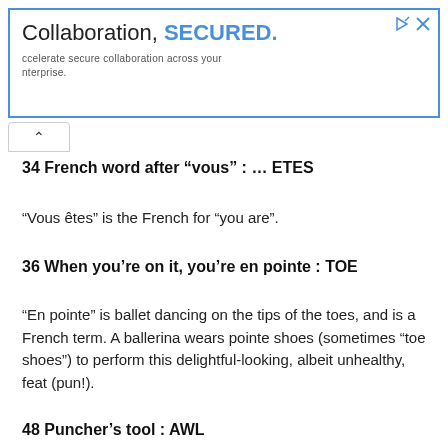[Figure (other): Advertisement banner with blue border. Title reads 'Collaboration, SECURED.' with 'SECURED.' in blue bold. Body text reads 'accelerate secure collaboration across your enterprise.']
34 French word after “vous” : ... ETES
“Vous êtes” is the French for “you are”.
36 When you’re on it, you’re en pointe : TOE
“En pointe” is ballet dancing on the tips of the toes, and is a French term. A ballerina wears pointe shoes (sometimes “toe shoes”) to perform this delightful-looking, albeit unhealthy, feat (pun!).
48 Puncher’s tool : AWL